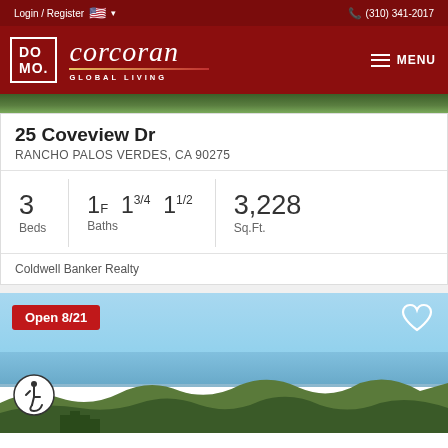Login / Register  (310) 341-2017
[Figure (logo): DOMO Corcoran Global Living logo with hamburger menu]
[Figure (photo): Aerial/landscape photo strip showing green treetops]
25 Coveview Dr
RANCHO PALOS VERDES, CA 90275
3 Beds   1F 13/4 11/2 Baths   3,228 Sq.Ft.
Coldwell Banker Realty
[Figure (photo): Coastal aerial view with blue sky, ocean and hills. Badge: Open 8/21. Heart icon. Wheelchair accessible icon.]